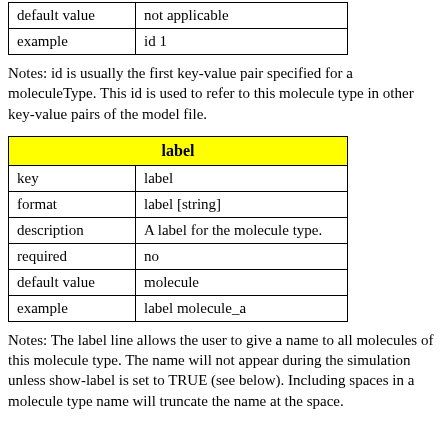| default value | not applicable |
| example | id 1 |
Notes: id is usually the first key-value pair specified for a moleculeType. This id is used to refer to this molecule type in other key-value pairs of the model file.
| label |
| --- |
| key | label |
| format | label [string] |
| description | A label for the molecule type. |
| required | no |
| default value | molecule |
| example | label molecule_a |
Notes: The label line allows the user to give a name to all molecules of this molecule type. The name will not appear during the simulation unless show-label is set to TRUE (see below). Including spaces in a molecule type name will truncate the name at the space.